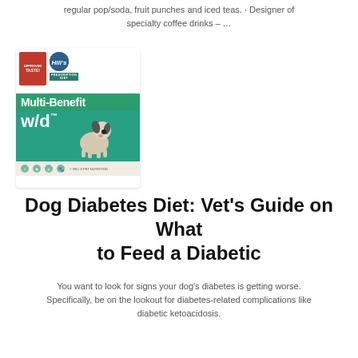regular pop/soda, fruit punches and iced teas. · Designer  of specialty coffee drinks – …
[Figure (photo): Hill's Prescription Diet Multi-Benefit w/d dog food bag with a black and white dog on the packaging]
Dog Diabetes Diet: Vet's Guide on What to Feed a Diabetic
You want to look for signs your dog's diabetes is getting worse. Specifically, be on the lookout for diabetes-related complications like diabetic ketoacidosis.